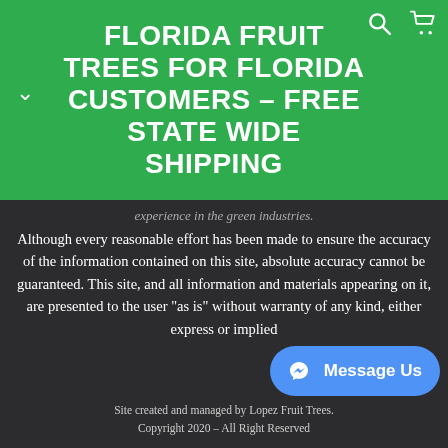FLORIDA FRUIT TREES FOR FLORIDA CUSTOMERS - FREE STATE WIDE SHIPPING
experience in the green industries. Although every reasonable effort has been made to ensure the accuracy of the information contained on this site, absolute accuracy cannot be guaranteed. This site, and all information and materials appearing on it, are presented to the user "as is" without warranty of any kind, either express or implied
Site created and managed by Lopez Fruit Trees. Copyright 2020 – All Right Reserved